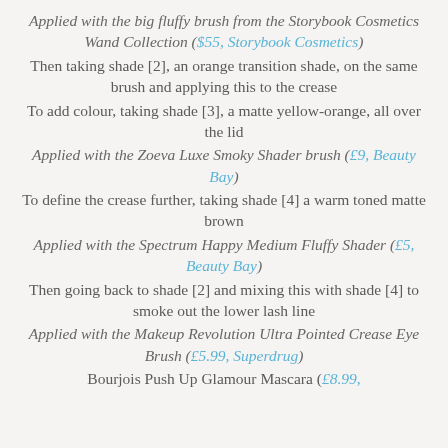Applied with the big fluffy brush from the Storybook Cosmetics Wand Collection ($55, Storybook Cosmetics)
Then taking shade [2], an orange transition shade, on the same brush and applying this to the crease
To add colour, taking shade [3], a matte yellow-orange, all over the lid
Applied with the Zoeva Luxe Smoky Shader brush (£9, Beauty Bay)
To define the crease further, taking shade [4] a warm toned matte brown
Applied with the Spectrum Happy Medium Fluffy Shader (£5, Beauty Bay)
Then going back to shade [2] and mixing this with shade [4] to smoke out the lower lash line
Applied with the Makeup Revolution Ultra Pointed Crease Eye Brush (£5.99, Superdrug)
Bourjois Push Up Glamour Mascara (£8.99,